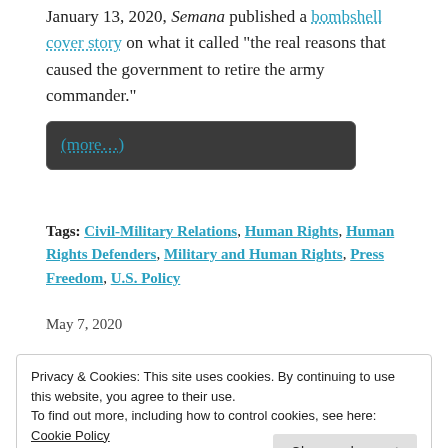January 13, 2020, Semana published a bombshell cover story on what it called “the real reasons that caused the government to retire the army commander.”
(more…)
Tags: Civil-Military Relations, Human Rights, Human Rights Defenders, Military and Human Rights, Press Freedom, U.S. Policy
May 7, 2020
Privacy & Cookies: This site uses cookies. By continuing to use this website, you agree to their use.
To find out more, including how to control cookies, see here: Cookie Policy
Close and accept
intelligence systems